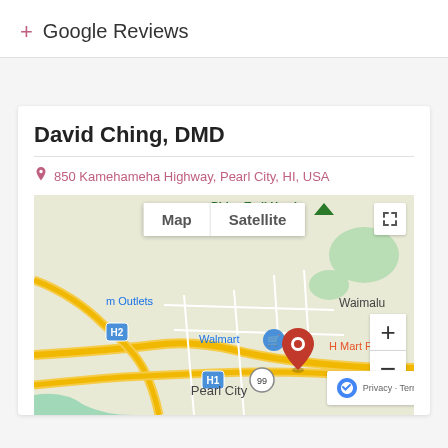+ Google Reviews
David Ching, DMD
850 Kamehameha Highway, Pearl City, HI, USA
[Figure (map): Google Maps showing Pearl City, HI area with a red location pin near 850 Kamehameha Highway. Shows Walmart, H Mart Pearl City, Pearl City label, Ridge Trail Head, and map/satellite toggle controls with zoom plus and minus buttons.]